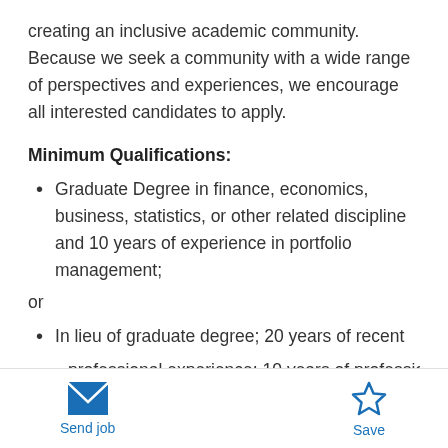creating an inclusive academic community. Because we seek a community with a wide range of perspectives and experiences, we encourage all interested candidates to apply.
Minimum Qualifications:
Graduate Degree in finance, economics, business, statistics, or other related discipline and 10 years of experience in portfolio management;
or
In lieu of graduate degree; 20 years of recent professional experience; 10 years of professional
Send job  Save